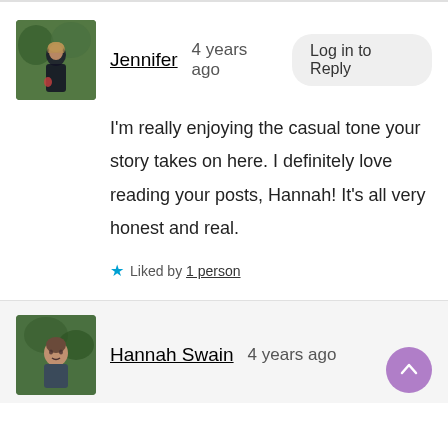[Figure (photo): Profile photo of Jennifer - woman in dark clothing outdoors]
Jennifer   4 years ago   Log in to Reply
I'm really enjoying the casual tone your story takes on here. I definitely love reading your posts, Hannah! It's all very honest and real.
★ Liked by 1 person
[Figure (photo): Profile photo of Hannah Swain - woman outdoors]
Hannah Swain   4 years ago